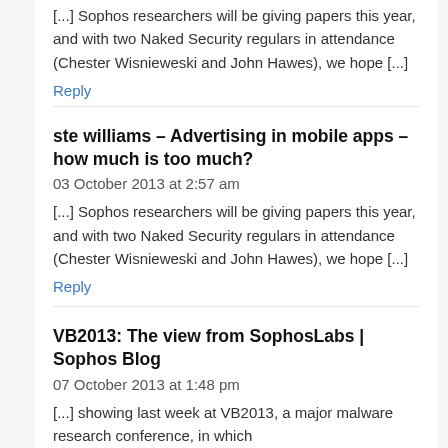[...] Sophos researchers will be giving papers this year, and with two Naked Security regulars in attendance (Chester Wisnieweski and John Hawes), we hope [...]
Reply
ste williams – Advertising in mobile apps – how much is too much?
03 October 2013 at 2:57 am
[...] Sophos researchers will be giving papers this year, and with two Naked Security regulars in attendance (Chester Wisnieweski and John Hawes), we hope [...]
Reply
VB2013: The view from SophosLabs | Sophos Blog
07 October 2013 at 1:48 pm
[...] showing last week at VB2013, a major malware research conference, in which